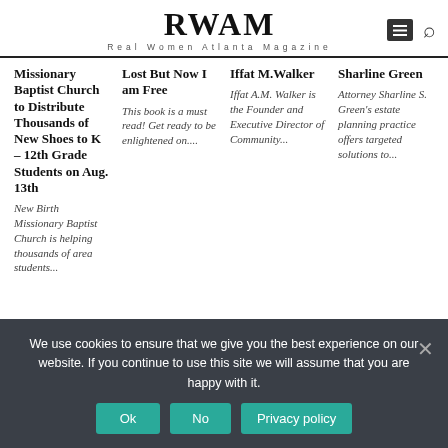RWAM
Real Women Atlanta Magazine
Missionary Baptist Church to Distribute Thousands of New Shoes to K – 12th Grade Students on Aug. 13th
New Birth Missionary Baptist Church is helping thousands of area students...
Lost But Now I am Free
This book is a must read! Get ready to be enlightened on....
Iffat M.Walker
Iffat A.M. Walker is the Founder and Executive Director of Community...
Sharline Green
Attorney Sharline S. Green's estate planning practice offers targeted solutions to...
We use cookies to ensure that we give you the best experience on our website. If you continue to use this site we will assume that you are happy with it.
Ok   No   Privacy policy